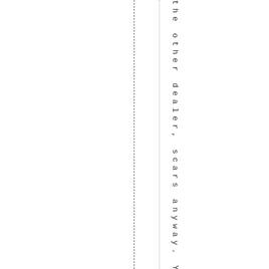the other dealer, scars anyway. Ye